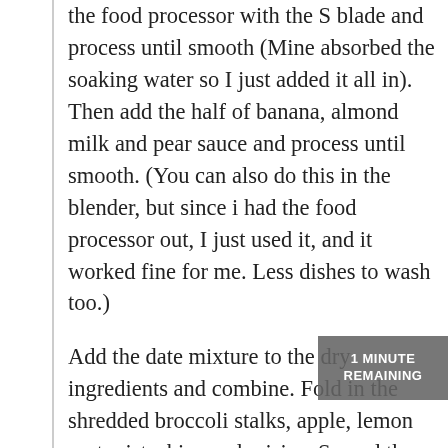the food processor with the S blade and process until smooth (Mine absorbed the soaking water so I just added it all in). Then add the half of banana, almond milk and pear sauce and process until smooth. (You can also do this in the blender, but since i had the food processor out, I just used it, and it worked fine for me. Less dishes to wash too.)
Add the date mixture to the dry ingredients and combine. Fold in the shredded broccoli stalks, apple, lemon zest, pistachios and raisins. Spread the batter in a square baking pan, 8×8 or 9 x9. Bake at 350 for about 45-55 minutes (55 minutes seems to work best in my oven but yours may be faster). After the cake cools a bit, sprinkle the top with cinnamon and ground ginger. Cut in. Store in refrigerator. Like most gluten free baked good, these bars just get better the next day.